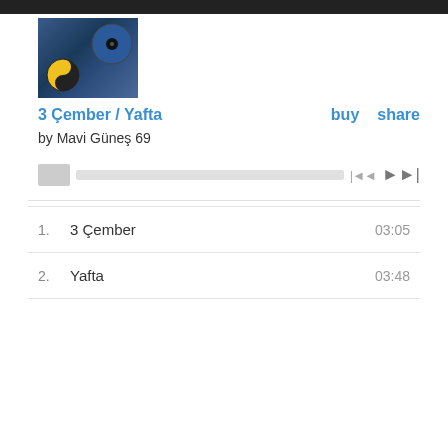[Figure (photo): Album cover artwork showing vinyl records with a yin-yang design]
3 Çember / Yafta
buy   share
by Mavi Güneş 69
[Figure (other): Audio player bar with play button, progress track, and skip controls]
1.  3 Çember   03:05
2.  Yafta   03:48